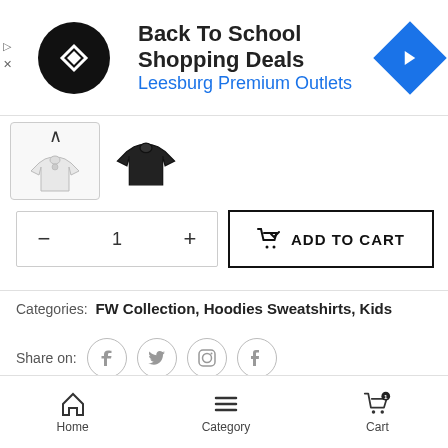[Figure (screenshot): Ad banner: Back To School Shopping Deals at Leesburg Premium Outlets with logo and arrow icon]
[Figure (illustration): Two product thumbnail images: white hoodie selected, black hoodie unselected]
— 1 + ADD TO CART
Categories: FW Collection, Hoodies Sweatshirts, Kids
Share on: [Facebook] [Twitter] [Pinterest] [Tumblr]
Guaranteed SAFE Checkout
Home   Category   Cart